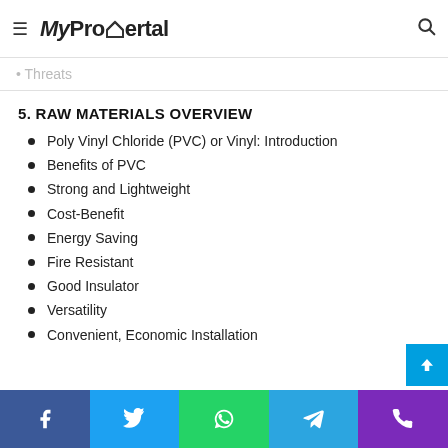MyPropertal
Threats
5. RAW MATERIALS OVERVIEW
Poly Vinyl Chloride (PVC) or Vinyl: Introduction
Benefits of PVC
Strong and Lightweight
Cost-Benefit
Energy Saving
Fire Resistant
Good Insulator
Versatility
Convenient, Economic Installation
Facebook Twitter WhatsApp Telegram Phone